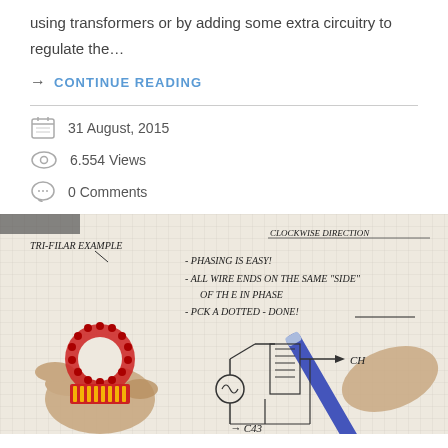using transformers or by adding some extra circuitry to regulate the…
→ CONTINUE READING
31 August, 2015
6.554 Views
0 Comments
[Figure (photo): Photo of a hand holding a toroidal coil component (tri-filar example) next to a hand-drawn schematic on grid paper showing clockwise direction notes, phasing notes, and circuit diagram with components labeled CH and C43.]